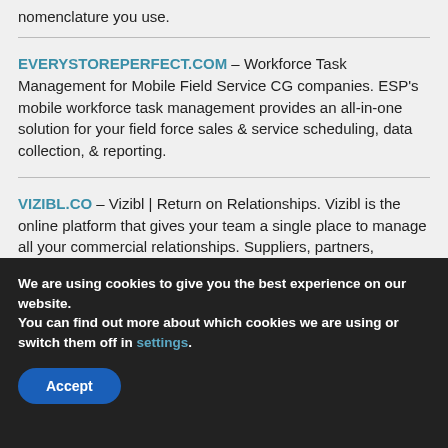nomenclature you use.
EVERYSTOREPERFECT.COM – Workforce Task Management for Mobile Field Service CG companies. ESP's mobile workforce task management provides an all-in-one solution for your field force sales & service scheduling, data collection, & reporting.
VIZIBL.CO – Vizibl | Return on Relationships. Vizibl is the online platform that gives your team a single place to manage all your commercial relationships. Suppliers, partners, vendors. Performance, Risk, Innovation.
AGIWORLDWIDE.COM – Welcome | AGI. AGI
We are using cookies to give you the best experience on our website.
You can find out more about which cookies we are using or switch them off in settings.